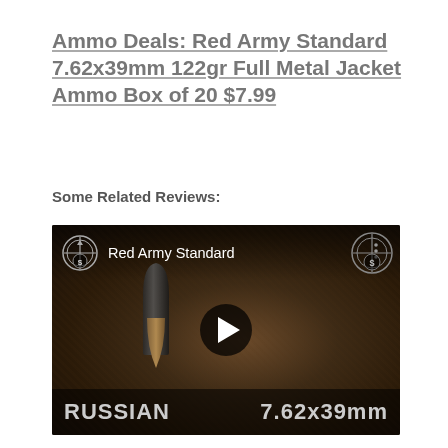Ammo Deals: Red Army Standard 7.62x39mm 122gr Full Metal Jacket Ammo Box of 20 $7.99
Some Related Reviews:
[Figure (screenshot): YouTube video thumbnail showing a 7.62x39mm bullet on a rusty metal surface. The video is titled 'Red Army Standard' with a channel logo on both left and right. At the bottom, the text 'RUSSIAN' and '7.62x39mm' is displayed. A play button is centered on the thumbnail.]